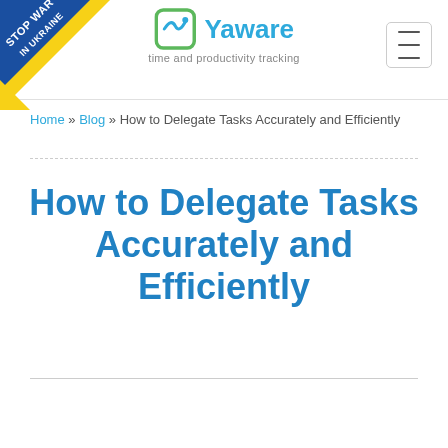Yaware — time and productivity tracking
[Figure (illustration): Stop War In Ukraine diagonal banner on top-left corner in blue and yellow colors]
Home » Blog » How to Delegate Tasks Accurately and Efficiently
How to Delegate Tasks Accurately and Efficiently